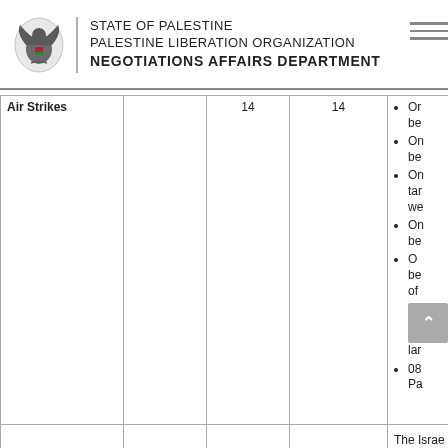STATE OF PALESTINE
PALESTINE LIBERATION ORGANIZATION
NEGOTIATIONS AFFAIRS DEPARTMENT
|  |  |  |  |  |
| --- | --- | --- | --- | --- |
| Air Strikes |  | 14 | 14 | • Or
be
• On
be
• On
tar
we
• On
be
• O
be
of
[back btn]
lar
• 08
Pa |
|  |  |  |  | The Israe |